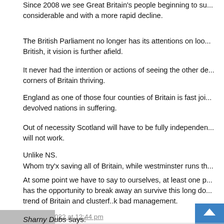Since 2008 we see Great Britain's people beginning to su... considerable and with a more rapid decline.
The British Parliament no longer has its attentions on loo... British, it vision is further afield.
It never had the intention or actions of seeing the other de... corners of Britain thriving.
England as one of those four counties of Britain is fast joi... devolved nations in suffering.
Out of necessity Scotland will have to be fully independen... will not work.
Unlike NS.
Whom try'x saving all of Britain, while westminster runs th...
At some point we have to say to ourselves, at least one p... has the opportunity to break away an survive this long do... trend of Britain and clusterf..k bad management.
So i wonder why any one of us here in Scotland consider... by finger tips
16 June, 2022 at 12:44 pm
[Figure (other): Grey avatar placeholder image]
Sharny Dubs says: